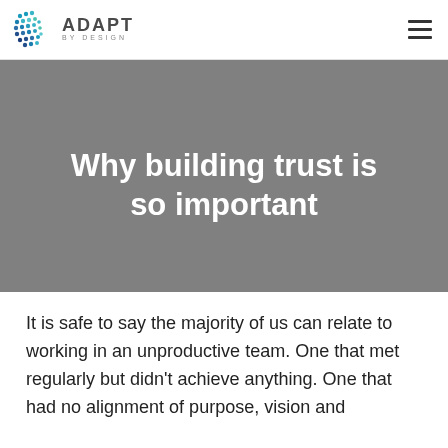ADAPT BY DESIGN
Why building trust is so important
It is safe to say the majority of us can relate to working in an unproductive team. One that met regularly but didn't achieve anything. One that had no alignment of purpose, vision and